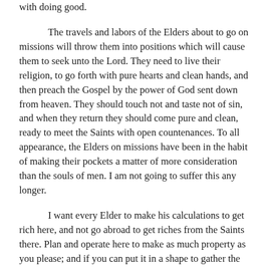with doing good.
The travels and labors of the Elders about to go on missions will throw them into positions which will cause them to seek unto the Lord. They need to live their religion, to go forth with pure hearts and clean hands, and then preach the Gospel by the power of God sent down from heaven. They should touch not and taste not of sin, and when they return they should come pure and clean, ready to meet the Saints with open countenances. To all appearance, the Elders on missions have been in the habit of making their pockets a matter of more consideration than the souls of men. I am not going to suffer this any longer.
I want every Elder to make his calculations to get rich here, and not go abroad to get riches from the Saints there. Plan and operate here to make as much property as you please; and if you can put it in a shape to gather the Saints, do so; and when you are abroad use every sovereign to emigrate the poor. You may have one shirt on and one at the washerwoman's, and decent and comfortable clothing; but what you obtain over this must be used to gather the poor. "May I obtain money enough to come home?" Yes. "How many coats and pantaloons may we bring, and how many trunks packed with clothing of the most expensive kinds, for our wives and children?" I utterly forbid this practice. I